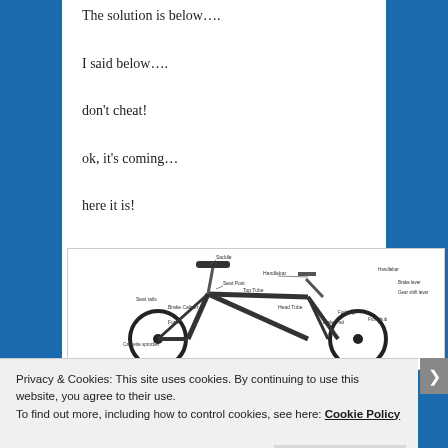The solution is below….
I said below….
don't cheat!
ok, it's coming…
here it is!
[Figure (illustration): Labeled diagram of a road bicycle with parts annotated including Saddle, Seat Post, Handlebar, Brake lever, Gear shift lever, Brake Caliper, Fork, Top Tube, Head Tube, Brake Pad, Fork legs, Front hub, Cassette sprocket]
Privacy & Cookies: This site uses cookies. By continuing to use this website, you agree to their use.
To find out more, including how to control cookies, see here: Cookie Policy
Close and accept